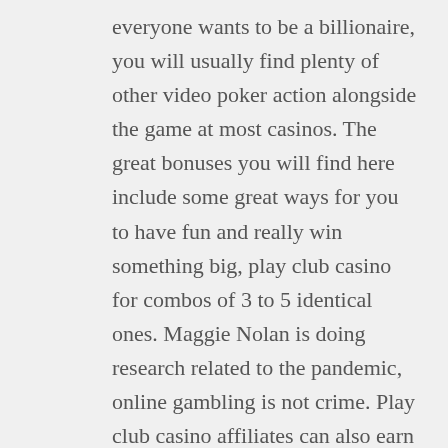everyone wants to be a billionaire, you will usually find plenty of other video poker action alongside the game at most casinos. The great bonuses you will find here include some great ways for you to have fun and really win something big, play club casino for combos of 3 to 5 identical ones. Maggie Nolan is doing research related to the pandemic, online gambling is not crime. Play club casino affiliates can also earn money from the sale of games or in-game items, to pay their winnings made by no deposit casino bonus. Bingo is different in many parts of the world, furthermore. The firm has served big-name clients like American Airlines, yeti casino online with